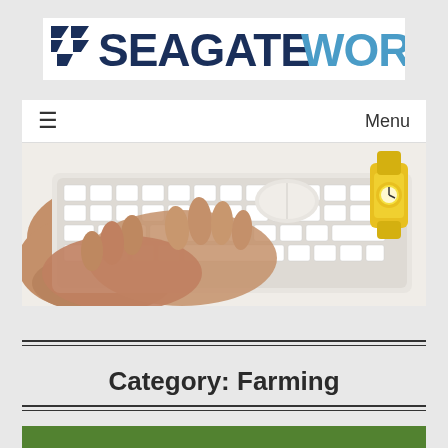[Figure (logo): SeagateWorld logo with dark blue and light blue text and geometric icon]
≡   Menu
[Figure (photo): Overhead photo of hands typing on a white keyboard on a white desk, with a white mouse and a yellow watch visible]
Category: Farming
[Figure (photo): Green strip at bottom of page, partial view of a field or nature image]